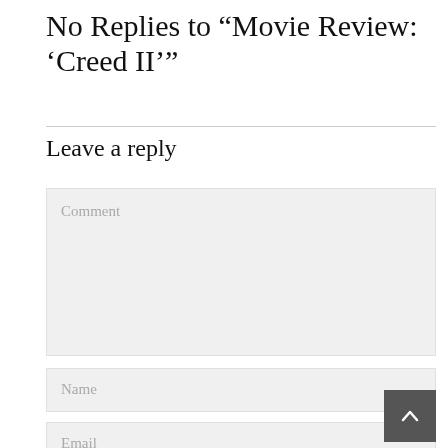No Replies to "Movie Review: ‘Creed II’"
Leave a reply
Comment
Name
Email